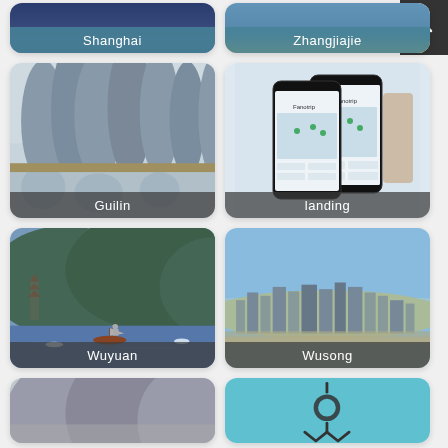[Figure (photo): Shanghai city photo card, partial top visible with dark teal label]
[Figure (photo): Zhangjiajie landscape photo card, partial top visible with teal label]
[Figure (photo): Guilin karst mountains landscape reflected in river]
[Figure (screenshot): App landing page showing Fanotrip mobile app screenshots on two phones]
[Figure (photo): Wuyuan lake scene with wooden boat and pagoda]
[Figure (photo): Wusong aerial city view with skyline]
[Figure (photo): Mountain landscape card, partial bottom visible]
[Figure (illustration): Teal card with sun/compass icon, partial bottom visible]